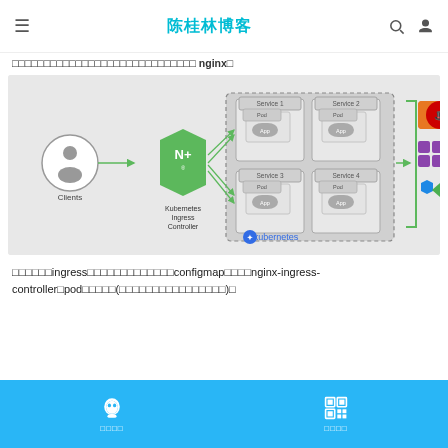陈桂林博客
□□□□□□□□□□□□□□□□□□□□□□□□□□□□□ nginx□
[Figure (engineering-diagram): Kubernetes Ingress Controller architecture diagram showing Clients connecting to an NGINX Plus Kubernetes Ingress Controller, which routes to four services (Service 1-4) each with Pod and App layers inside a Kubernetes cluster, connecting to cloud platform logos on the right.]
□□□□□□ingress□□□□□□□□□□□□□configmap□□□□nginx-ingress-controller□pod□□□□□(□□□□□□□□□□□□□□□□)□
□□□□  □□□□